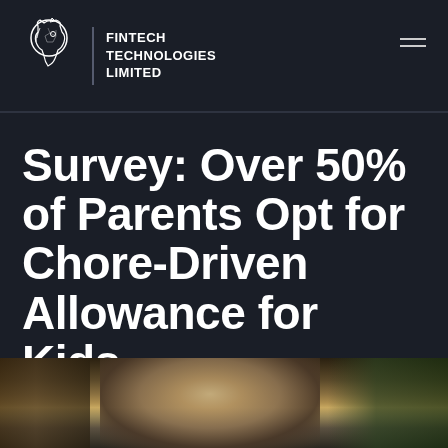FINTECH TECHNOLOGIES LIMITED
Survey: Over 50% of Parents Opt for Chore-Driven Allowance for Kids
• APRIL 26, 2022 • ARTICLE ITEM
[Figure (photo): Photo of a child, partially visible, appearing to do an activity, with bookshelves and greenery in the background.]